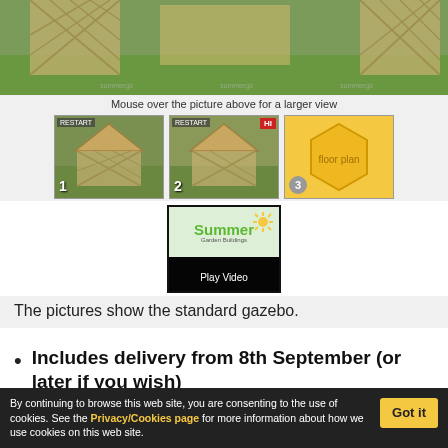[Figure (photo): Top photo of a wooden lattice gazebo structure on green grass]
Mouse over the picture above for a larger view
[Figure (photo): Three thumbnail images: two gazebo photos numbered 1 and 2, and a floor plan hexagon labeled 'floor plan' numbered 3]
[Figure (screenshot): Video thumbnail showing Summer Garden Buildings logo with Play Video text]
The pictures show the standard gazebo.
Includes delivery from 8th September (or later if you wish)
By continuing to browse this web site, you are consenting to the use of cookies. See the Privacy/Cookies page for more information about how we use cookies on this web site.